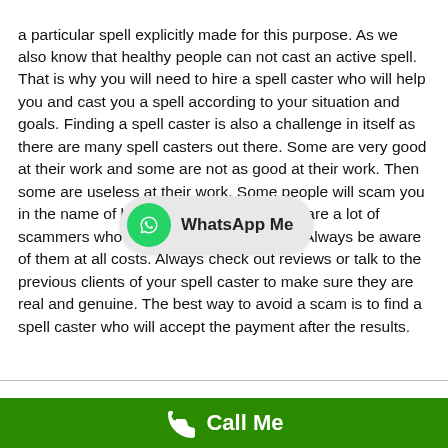a particular spell explicitly made for this purpose. As we also know that healthy people can not cast an active spell. That is why you will need to hire a spell caster who will help you and cast you a spell according to your situation and goals. Finding a spell caster is also a challenge in itself as there are many spell casters out there. Some are very good at their work and some are not as good at their work. Then some are useless at their work. Some people will scam you in the name of being a spell caster. There are a lot of scammers who claim to be a spell caster. Always be aware of them at all costs. Always check out reviews or talk to the previous clients of your spell caster to make sure they are real and genuine. The best way to avoid a scam is to find a spell caster who will accept the payment after the results.
[Figure (other): WhatsApp Me button overlay with green WhatsApp icon and grey pill-shaped background]
Call Me